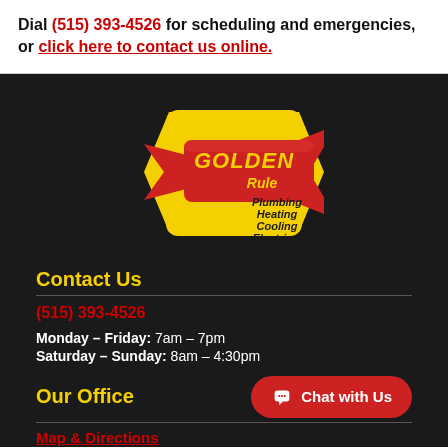Dial (515) 393-4526 for scheduling and emergencies, or click here to contact us online.
[Figure (logo): Golden Rule Plumbing Heating Cooling Electrical logo — yellow diamond shape with red ribbon banner]
Contact Us
(515) 393-4526
Monday – Friday: 7am – 7pm
Saturday – Sunday: 8am – 4:30pm
Our Office
Chat with Us
Map & Directions